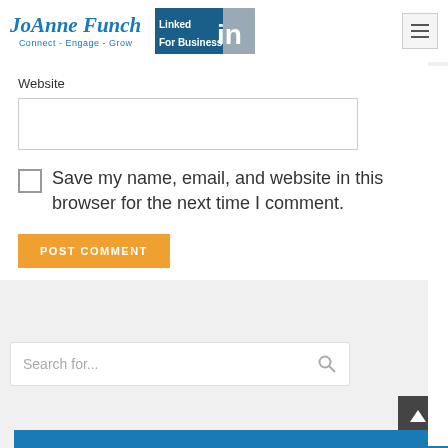JoAnne Funch — Connect - Engage - Grow | LinkedIn For Business
Website
Save my name, email, and website in this browser for the next time I comment.
POST COMMENT
Search for...